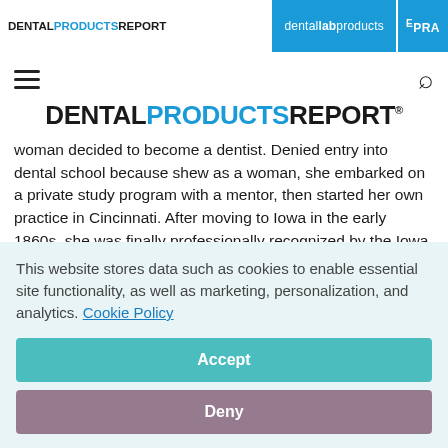DENTAL PRODUCTS REPORT | dental lab products | EPRA
[Figure (logo): Dental Products Report logo with hamburger menu and search icon]
DENTAL PRODUCTS REPORT
woman decided to become a dentist. Denied entry into dental school because shew as a woman, she embarked on a private study program with a mentor, then started her own practice in Cincinnati. After moving to Iowa in the early 1860s, she was finally professionally recognized by the Iowa State Dental
This website stores data such as cookies to enable essential site functionality, as well as marketing, personalization, and analytics. Cookie Policy
Accept
Deny